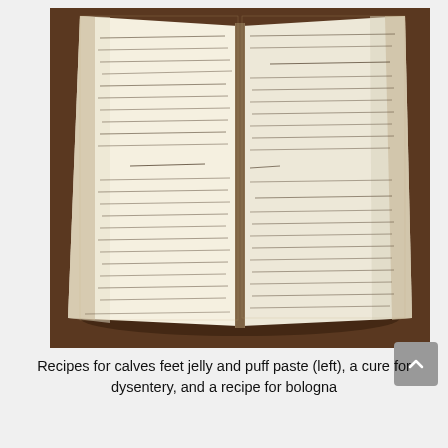[Figure (photo): An open antique handwritten recipe book showing two pages of cursive script. Left page contains recipes for calves feet jelly and puff paste. Right page contains a cure for dysentery and a recipe for bologna. The book is photographed from above on a dark wooden surface.]
Recipes for calves feet jelly and puff paste (left), a cure for dysentery, and a recipe for bologna